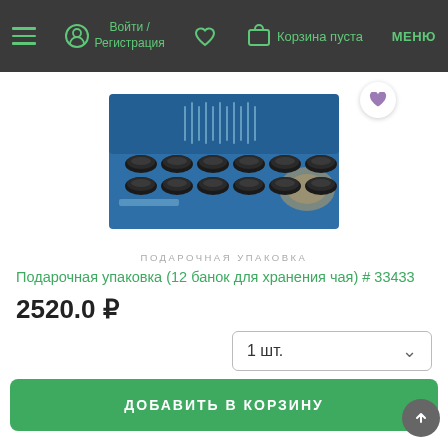Войти / Регистрация   Корзина пуста   МЕНЮ
[Figure (photo): Blue gift box containing 12 small black tea storage tins, opened lid showing Chinese-style packaging]
ПОДАРОЧНАЯ УПАКОВКА
Подарочная упаковка (12 банок для хранения чая) # 33433
2520.0 ₽
1 шт.
ДОБАВИТЬ В КОРЗИНУ